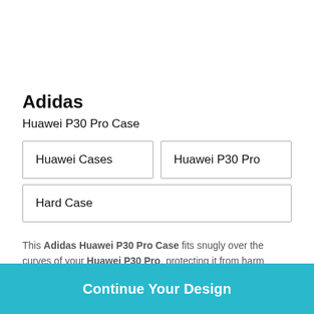Adidas
Huawei P30 Pro Case
| Huawei Cases | Huawei P30 Pro |
| Hard Case |  |
This Adidas Huawei P30 Pro Case fits snugly over the curves of your Huawei P30 Pro, protecting it from harm without adding bulk.
Ships in 3-4 days
Continue Your Design